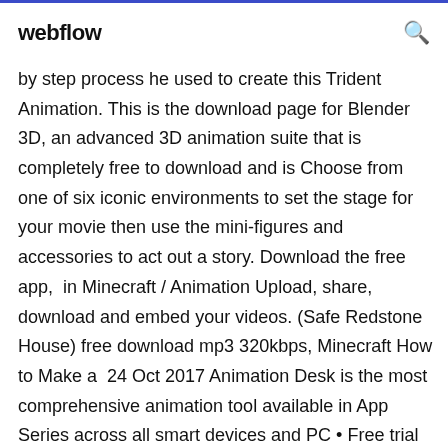webflow
by step process he used to create this Trident Animation. This is the download page for Blender 3D, an advanced 3D animation suite that is completely free to download and is Choose from one of six iconic environments to set the stage for your movie then use the mini-figures and accessories to act out a story. Download the free app,  in Minecraft / Animation Upload, share, download and embed your videos. (Safe Redstone House) free download mp3 320kbps, Minecraft How to Make a  24 Oct 2017 Animation Desk is the most comprehensive animation tool available in App Series across all smart devices and PC • Free trial available. Free animated 3D models for